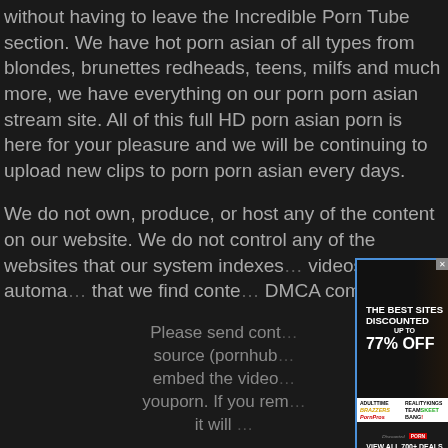without having to leave the Incredible Porn Tube section. We have hot porn asian of all types from blondes, brunettes redheads, teens, milfs and much more, we have everything on our porn porn asian stream site. All of this full HD porn asian porn is here for your pleasure and we will be continuing to upload new clips to porn porn asian every days.
We do not own, produce, or host any of the content on our website. We do not control any of the websites that our system indexes videos and automa... that we find conte... DMCA compliant.
Please send cont... source (pornhub... embed the video... youporn. If you rem... it will ...
All models were 1...
pornasian.org has...
[Figure (infographic): Advertisement overlay: 'THE BEST SITES DISCOUNTED UP TO 77% OFF' with brand logos: ADULTTIME, REALITYKINGS, BRAZZERS, TEAM SKEET, PornPros, BANG! and 'VIEW ALL 700+ DEALS' at bottom. Close button X in top right.]